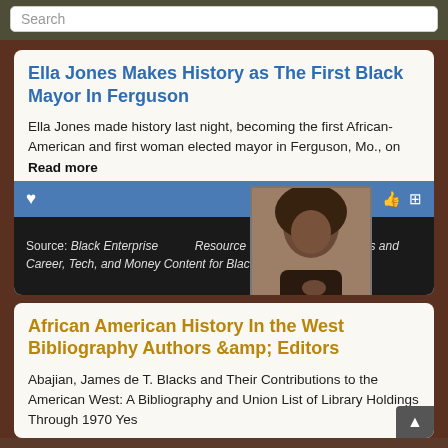Search
Ella Jones Makes History as The First Black Mayor In Ferguson
Ella Jones made history last night, becoming the first African-American and first woman elected mayor in Ferguson, Mo., on
Read more
[Figure (photo): Black and white portrait photo of a person with afro hairstyle, hand on chest]
Source: Black Enterprise Resource for Black Entrepreneurs and Career, Tech, and Money Content for Black People - Black Ent
African American History In the West Bibliography Authors & Editors
Abajian, James de T. Blacks and Their Contributions to the American West: A Bibliography and Union List of Library Holdings Through 1970 Yes